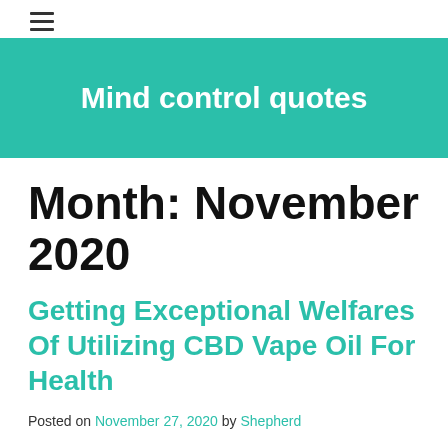≡
Mind control quotes
Month: November 2020
Getting Exceptional Welfares Of Utilizing CBD Vape Oil For Health
Posted on November 27, 2020 by Shepherd
In the event that you are new to CBD vape oil, this